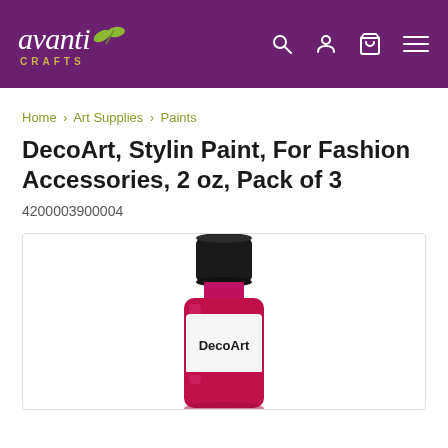avanti CRAFTS
Home › Art Supplies › Paints
DecoArt, Stylin Paint, For Fashion Accessories, 2 oz, Pack of 3
4200003900004
[Figure (photo): A small cylindrical paint bottle with a dark cap labeled DecoArt, in a pink/magenta color, partially shown]